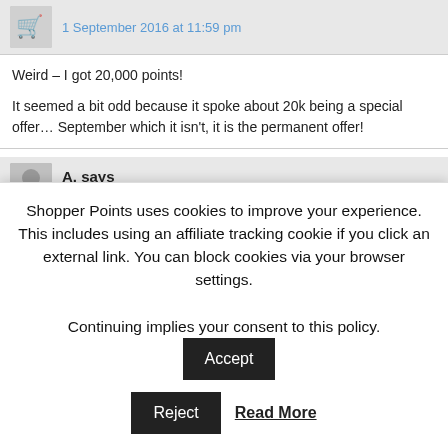1 September 2016 at 11:59 pm
Weird – I got 20,000 points! It seemed a bit odd because it spoke about 20k being a special offer… September which it isn't, it is the permanent offer!
A. says
2 September 2016 at 12:59 pm
I've been buying gift cards online with Tesco for a couple of months now… Starbucks to feed my morning communite caffeine addiction, but no po… Clubcard account yet. Anika says points post a few weeks later. Tesco a…
Shopper Points uses cookies to improve your experience. This includes using an affiliate tracking cookie if you click an external link. You can block cookies via your browser settings. Continuing implies your consent to this policy. Accept Reject Read More